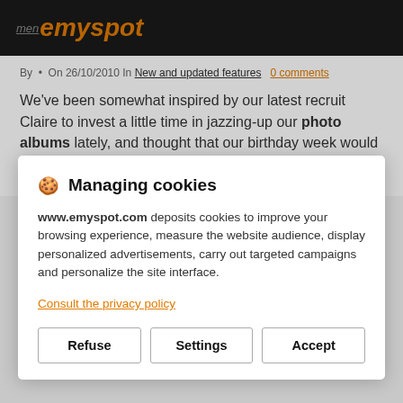menu emyspot
By • On 26/10/2010 In New and updated features   0 comments
We've been somewhat inspired by our latest recruit Claire to invest a little time in jazzing-up our photo albums lately, and thought that our birthday week would be a great time to introduce you to the latest site updates. As usual, the beneficiaries of all
🍪 Managing cookies
www.emyspot.com deposits cookies to improve your browsing experience, measure the website audience, display personalized advertisements, carry out targeted campaigns and personalize the site interface.
Consult the privacy policy
Refuse
Settings
Accept